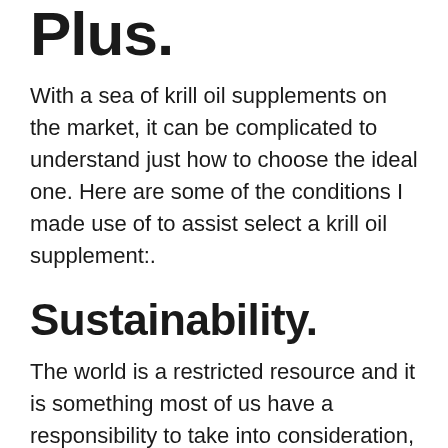Plus.
With a sea of krill oil supplements on the market, it can be complicated to understand just how to choose the ideal one. Here are some of the conditions I made use of to assist select a krill oil supplement:.
Sustainability.
The world is a restricted resource and it is something most of us have a responsibility to take into consideration, not just for our very own benefit but also for our kids and grandchildren. Sustainability is particularly important for the ocean as our survival depends on the oceans.